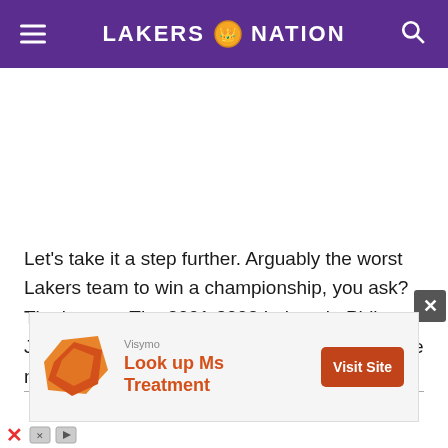LAKERS NATION
Let’s take it a step further. Arguably the worst Lakers team to win a championship, you ask? That’s easy. The 2001-2002 Lakers in Phil Jackson’s first third year as coach. Sitting in the number three seed and second in the Pacific
[Figure (infographic): Advertisement banner: Visymo logo with orange diamond shape, text 'Look up Ms Treatment', orange 'Visit Site' button]